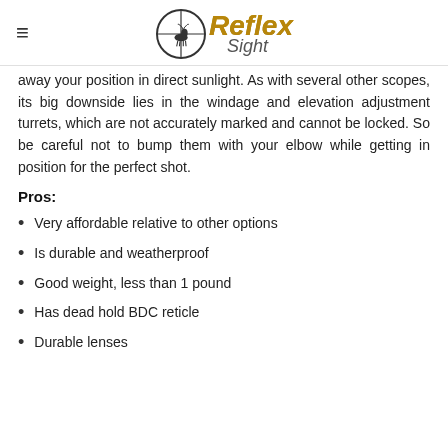Reflex Sight
away your position in direct sunlight. As with several other scopes, its big downside lies in the windage and elevation adjustment turrets, which are not accurately marked and cannot be locked. So be careful not to bump them with your elbow while getting in position for the perfect shot.
Pros:
Very affordable relative to other options
Is durable and weatherproof
Good weight, less than 1 pound
Has dead hold BDC reticle
Durable lenses